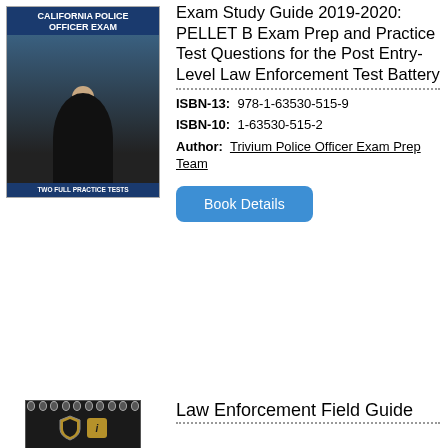[Figure (photo): Book cover of California Police Officer Exam Study Guide 2019-2020 with police officer photo and 'Two Full Practice Tests' text]
Exam Study Guide 2019-2020: PELLET B Exam Prep and Practice Test Questions for the Post Entry-Level Law Enforcement Test Battery
ISBN-13:  978-1-63530-515-9
ISBN-10:  1-63530-515-2
Author:  Trivium Police Officer Exam Prep Team
Book Details
[Figure (photo): Book cover of Law Enforcement Field Guide, black spiral notebook with shield logo and info badge]
Law Enforcement Field Guide